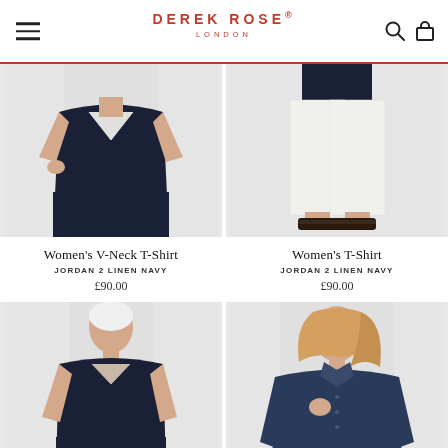DEREK ROSE® LONDON
[Figure (photo): Woman wearing dark navy V-neck short-sleeve t-shirt with navy wide-leg trousers, cropped view from shoulders to knees]
[Figure (photo): Woman wearing white cropped trousers with dark navy top, cropped view from waist to feet with black sandals]
Women's V-Neck T-Shirt
JORDAN 2 LINEN NAVY
£90.00
Women's T-Shirt
JORDAN 2 LINEN NAVY
£90.00
[Figure (photo): Older woman with short white hair wearing dark navy V-neck short-sleeve t-shirt with navy wide-leg trousers, full torso view]
[Figure (photo): Blonde woman wearing navy linen button-up long-sleeve shirt, smiling, cropped from waist up]